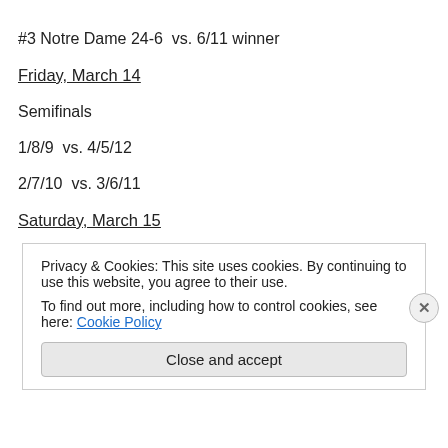#3 Notre Dame 24-6  vs. 6/11 winner
Friday, March 14
Semifinals
1/8/9  vs. 4/5/12
2/7/10  vs. 3/6/11
Saturday, March 15
Privacy & Cookies: This site uses cookies. By continuing to use this website, you agree to their use.
To find out more, including how to control cookies, see here: Cookie Policy